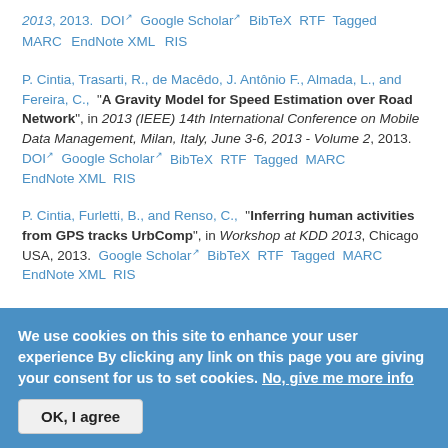2013, 2013. DOI Google Scholar BibTeX RTF Tagged MARC EndNote XML RIS
P. Cintia, Trasarti, R., de Macêdo, J. Antônio F., Almada, L., and Fereira, C., "A Gravity Model for Speed Estimation over Road Network", in 2013 (IEEE) 14th International Conference on Mobile Data Management, Milan, Italy, June 3-6, 2013 - Volume 2, 2013. DOI Google Scholar BibTeX RTF Tagged MARC EndNote XML RIS
P. Cintia, Furletti, B., and Renso, C., "Inferring human activities from GPS tracks UrbComp", in Workshop at KDD 2013, Chicago USA, 2013. Google Scholar BibTeX RTF Tagged MARC EndNote XML RIS
We use cookies on this site to enhance your user experience By clicking any link on this page you are giving your consent for us to set cookies. No, give me more info
OK, I agree